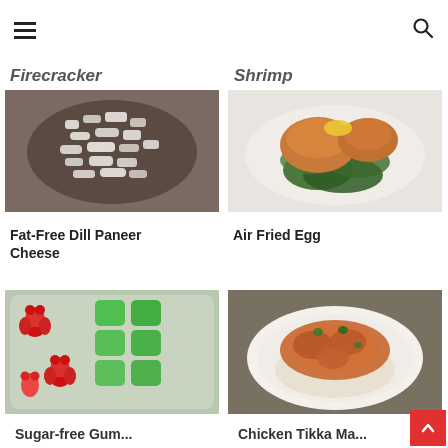[hamburger menu] [search icon]
Firecracker
Shrimp
[Figure (photo): Photo of fat-free dill paneer cheese in a bowl - crumbled white cheese]
[Figure (photo): Photo of air fried egg on spinach leaves on a white plate]
Fat-Free Dill Paneer Cheese
Air Fried Egg
[Figure (photo): Photo of red gummy bears and green jello cubes in a container]
[Figure (photo): Photo of chicken tikka masala on a white plate with rice and garnish]
Sugar-free Gummy...
Chicken Tikka Masa...